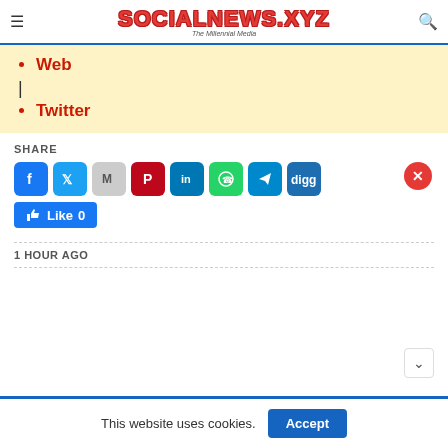SOCIALNEWS.XYZ — The Millennial Media
Web
Twitter
SHARE
[Figure (screenshot): Social share buttons: Facebook, Twitter, Gmail, Pinterest, LinkedIn, WhatsApp, Telegram, Digg; Like button with count 0; red close button]
1 HOUR AGO
This website uses cookies.